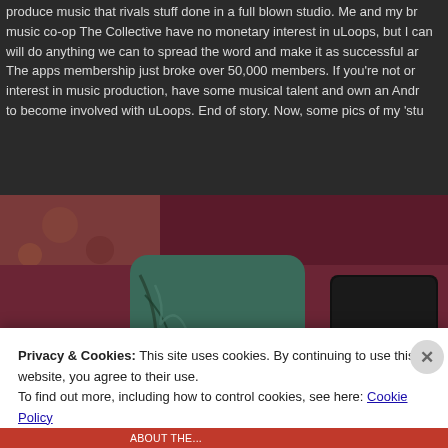produce music that rivals stuff done in a full blown studio. Me and my brother's music co-op The Collective have no monetary interest in uLoops, but I can and will do anything we can to spread the word and make it as successful as possible. The apps membership just broke over 50,000 members. If you're not on it and have an interest in music production, have some musical talent and own an Android device, I urge you to become involved with uLoops. End of story. Now, some pics of my 'stu...
[Figure (photo): Photo of a Fender branded pouch/bag (green with black design) and a black rectangular device/wallet, placed on a purple/maroon fuzzy surface.]
Privacy & Cookies: This site uses cookies. By continuing to use this website, you agree to their use.
To find out more, including how to control cookies, see here: Cookie Policy
Close and accept